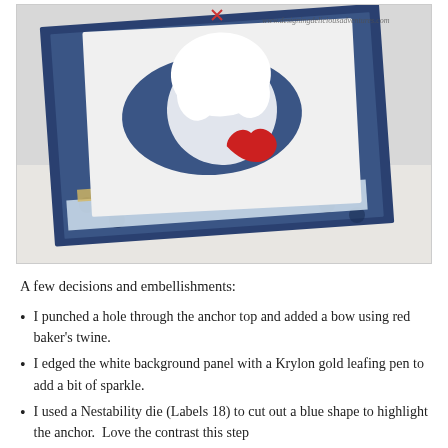[Figure (photo): Close-up photo of a layered scrapbook card with a nautical/anchor theme. The card features navy blue patterned paper with anchor motifs, a white background panel, decorative paper layers, a red paper heart shape, white decorative die-cut elements, and red baker's twine bow. A watermark reads www.designingdeliciousadventures.com in the upper right.]
A few decisions and embellishments:
I punched a hole through the anchor top and added a bow using red baker's twine.
I edged the white background panel with a Krylon gold leafing pen to add a bit of sparkle.
I used a Nestability die (Labels 18) to cut out a blue shape to highlight the anchor.  Love the contrast this step